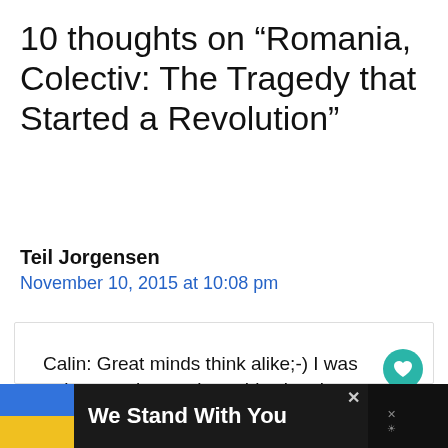10 thoughts on “Romania, Colectiv: The Tragedy that Started a Revolution”
Teil Jorgensen
November 10, 2015 at 10:08 pm
Calin: Great minds think alike;-) I was going to ask you about this situation and you beat me to it. This
We Stand With You